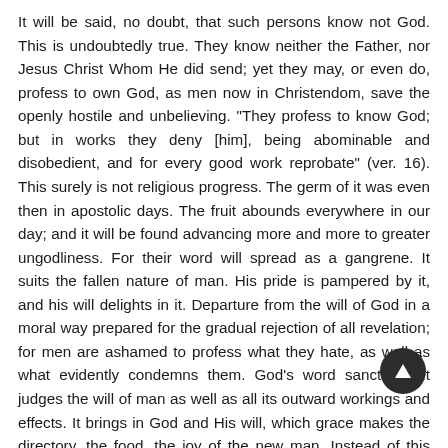It will be said, no doubt, that such persons know not God. This is undoubtedly true. They know neither the Father, nor Jesus Christ Whom He did send; yet they may, or even do, profess to own God, as men now in Christendom, save the openly hostile and unbelieving. "They profess to know God; but in works they deny [him], being abominable and disobedient, and for every good work reprobate" (ver. 16). This surely is not religious progress. The germ of it was even then in apostolic days. The fruit abounds everywhere in our day; and it will be found advancing more and more to greater ungodliness. For their word will spread as a gangrene. It suits the fallen nature of man. His pride is pampered by it, and his will delights in it. Departure from the will of God in a moral way prepared for the gradual rejection of all revelation; for men are ashamed to profess what they hate, as well as what evidently condemns them. God's word sanctifies. It judges the will of man as well as all its outward workings and effects. It brings in God and His will, which grace makes the directory, the food, the joy of the new man. Instead of this Satan presents fable on the one